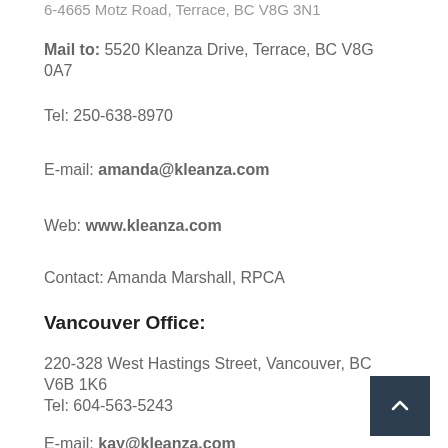6-4665 Motz Road, Terrace, BC V8G 3N1
Mail to: 5520 Kleanza Drive, Terrace, BC V8G 0A7
Tel: 250-638-8970
E-mail: amanda@kleanza.com
Web: www.kleanza.com
Contact: Amanda Marshall, RPCA
Vancouver Office:
220-328 West Hastings Street, Vancouver, BC V6B 1K6
Tel: 604-563-5243
E-mail: kay@kleanza.com